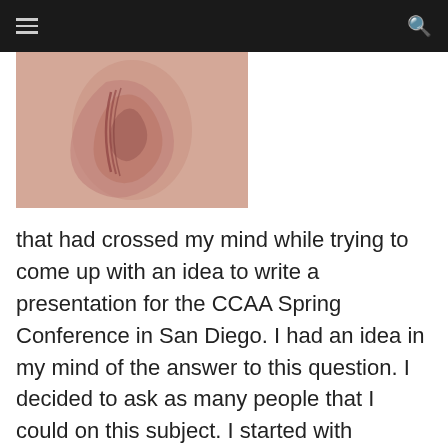[navigation bar with hamburger menu and search icon]
[Figure (photo): Close-up macro photograph of a human ear, showing skin texture and ear canal, with reddish-pink tones]
that had crossed my mind while trying to come up with an idea to write a presentation for the CCAA Spring Conference in San Diego. I had an idea in my mind of the answer to this question. I decided to ask as many people that I could on this subject. I started with inspectors and then moved on to managers. This is what I found in my small assesment.